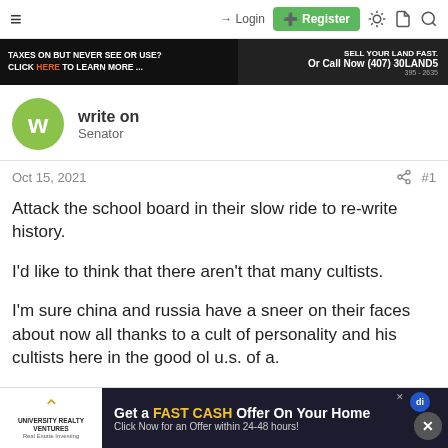≡  → Login  ⊞ Register
[Figure (screenshot): Ad banner: dark background with text 'TAXES ON BUT NEVER SEE OR USE? CLICK HERE TO LEARN MORE ...' and 'SELL YOUR LAND FAST. Or Call Now (407) 30LAND5  395-2635']
write on
Senator
Oct 15, 2021  #1
Attack the school board in their slow ride to re-write history.

I'd like to think that there aren't that many cultists.

I'm sure china and russia have a sneer on their faces about now all thanks to a cult of personality and his cultists here in the good ol u.s. of a.
[Figure (screenshot): Bottom ad: University Realty Ventures logo on left, dark banner 'Get a FAST CASH Offer On Your Home - Click Now for an Offer within 24-48 hours!' with close X button and di badge]